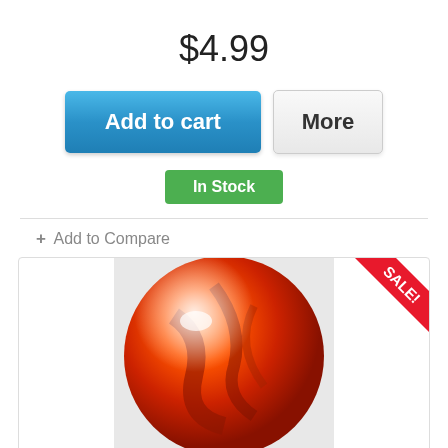$4.99
Add to cart
More
In Stock
+ Add to Compare
[Figure (photo): A red/orange carnelian agate marble or gemstone sphere on a white textured background. A red 'SALE!' ribbon badge is shown in the top-right corner.]